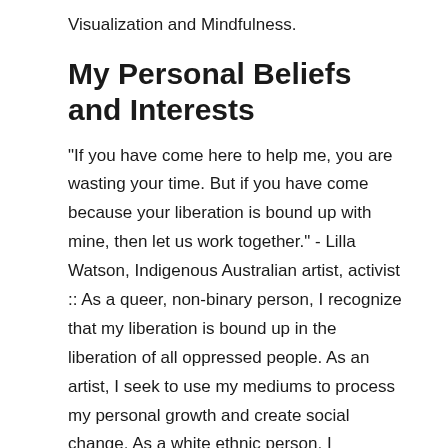Visualization and Mindfulness.
My Personal Beliefs and Interests
“If you have come here to help me, you are wasting your time. But if you have come because your liberation is bound up with mine, then let us work together.” - Lilla Watson, Indigenous Australian artist, activist :: As a queer, non-binary person, I recognize that my liberation is bound up in the liberation of all oppressed people. As an artist, I seek to use my mediums to process my personal growth and create social change. As a white ethnic person, I recognize that I have work to do to ensure this reality. I am deeply involved in queer community and justice work in the East Bay through the Bay Area Transformative Justice Collective, Oakland LGBTQ+ Center and networks of queer